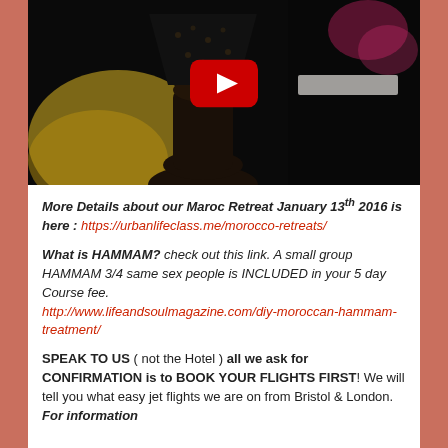[Figure (screenshot): YouTube video thumbnail showing a dark Moroccan lamp scene with a red YouTube play button overlay]
More Details about our Maroc Retreat January 13th 2016 is here : https://urbanlifeclass.me/morocco-retreats/
What is HAMMAM? check out this link. A small group HAMMAM 3/4 same sex people is INCLUDED in your 5 day Course fee. http://www.lifeandsoulmagazine.com/diy-moroccan-hammam-treatment/
SPEAK TO US ( not the Hotel ) all we ask for CONFIRMATION is to BOOK YOUR FLIGHTS FIRST! We will tell you what easy jet flights we are on from Bristol & London. For information